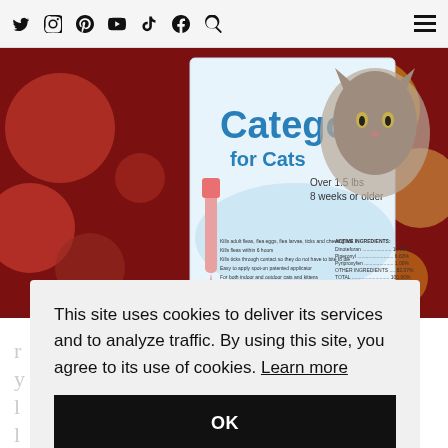Twitter Instagram Pinterest YouTube TikTok Facebook Search [hamburger menu]
[Figure (photo): Catego for Cats product box showing a fluffy cat, 'Over 1.5 lbs 8 weeks or older', against a blurred red and gold bokeh background]
This site uses cookies to deliver its services and to analyze traffic. By using this site, you agree to its use of cookies. Learn more
OK
...ting ...also ...s to ...pet with  Catego®.  Catego®  is  available  at